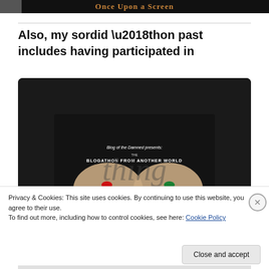[Figure (screenshot): Top banner showing 'Once Upon a Screen' blog header with decorative text on dark background]
Also, my sordid ‘thon past includes having participated in
[Figure (screenshot): Embedded video or image showing 'Blog of the Damned presents: the BLOGATHON FROM ANOTHER WORLD' with hands holding red and green pills, Matrix-style imagery]
Privacy & Cookies: This site uses cookies. By continuing to use this website, you agree to their use.
To find out more, including how to control cookies, see here: Cookie Policy
Close and accept